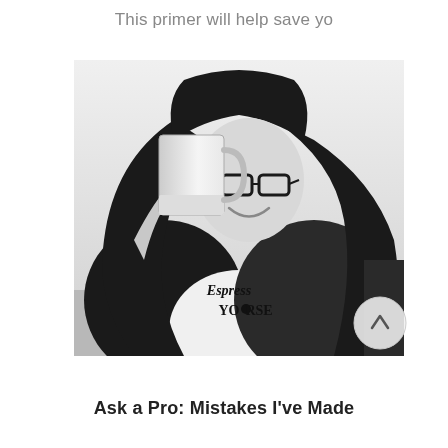This primer will help save yo
[Figure (photo): Black and white photo of a young woman with long dark hair and glasses, smiling, holding up a white mug. She is wearing a white t-shirt that reads 'Espress Yourse' (Espresso Yourself). She is posing indoors.]
Ask a Pro: Mistakes I've Made